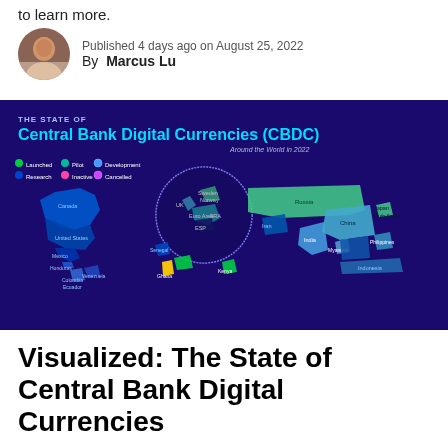to learn more.
Published 4 days ago on August 25, 2022
By Marcus Lu
[Figure (map): World map showing the state of Central Bank Digital Currencies (CBDC) around the world in 2022. Countries are color-coded by status: Launched, Pilot, Development, Research, Inactive, Cancelled. Notable countries labeled include Canada, United States, Mexico, Honduras, Colombia, Ecuador, Venezuela, Senegal, Ghana, Nigeria, Kenya, Sweden, Norway, UK, Euro Area, France (FRA), Spain (ESP), Russia, Iran, India, China, Japan, South Korea, Myanmar, Philippines, Indonesia.]
Visualized: The State of Central Bank Digital Currencies